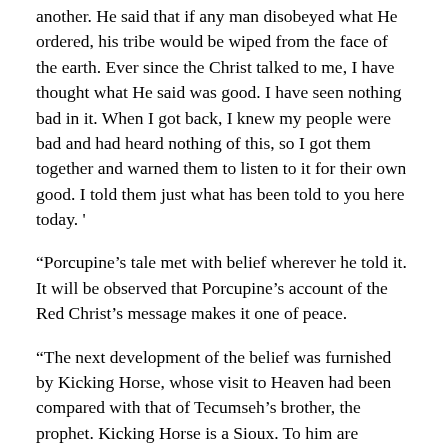another. He said that if any man disobeyed what He ordered, his tribe would be wiped from the face of the earth. Ever since the Christ talked to me, I have thought what He said was good. I have seen nothing bad in it. When I got back, I knew my people were bad and had heard nothing of this, so I got them together and warned them to listen to it for their own good. I told them just what has been told to you here today. '
“Porcupine’s tale met with belief wherever he told it. It will be observed that Porcupine’s account of the Red Christ’s message makes it one of peace.
“The next development of the belief was furnished by Kicking Horse, whose visit to Heaven had been compared with that of Tecumseh’s brother, the prophet. Kicking Horse is a Sioux. To him are accredited the feature of the craze involved in the belief of the resurrection of all dead Indians, and of the over-whelming of the whites.
“His story is that he was taken to Heaven through a